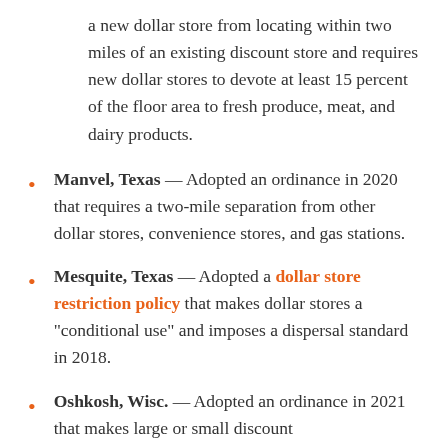a new dollar store from locating within two miles of an existing discount store and requires new dollar stores to devote at least 15 percent of the floor area to fresh produce, meat, and dairy products.
Manvel, Texas — Adopted an ordinance in 2020 that requires a two-mile separation from other dollar stores, convenience stores, and gas stations.
Mesquite, Texas — Adopted a dollar store restriction policy that makes dollar stores a “conditional use” and imposes a dispersal standard in 2018.
Oshkosh, Wisc. — Adopted an ordinance in 2021 that makes large or small discount...